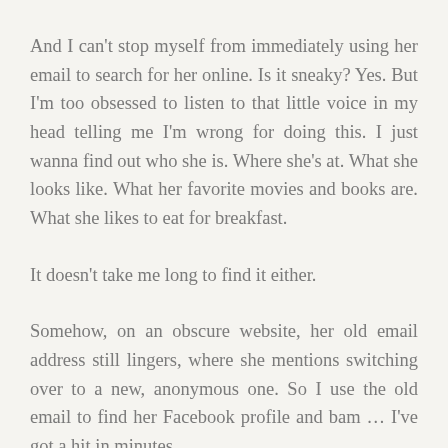And I can't stop myself from immediately using her email to search for her online. Is it sneaky? Yes. But I'm too obsessed to listen to that little voice in my head telling me I'm wrong for doing this. I just wanna find out who she is. Where she's at. What she looks like. What her favorite movies and books are. What she likes to eat for breakfast.
It doesn't take me long to find it either.
Somehow, on an obscure website, her old email address still lingers, where she mentions switching over to a new, anonymous one. So I use the old email to find her Facebook profile and bam … I've got a hit in minutes.